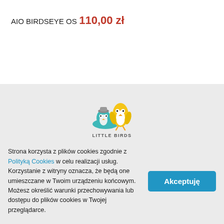AIO BIRDSEYE OS
110,00 zł
[Figure (logo): Little Birds logo: two cartoon penguin-like birds, one small with grey hat in teal nest, one tall yellow bird, with text LITTLE BIRDS below]
Strona korzysta z plików cookies zgodnie z Polityką Cookies w celu realizacji usług. Korzystanie z witryny oznacza, że będą one umieszczane w Twoim urządzeniu końcowym. Możesz określić warunki przechowywania lub dostępu do plików cookies w Twojej przeglądarce.
Akceptuję